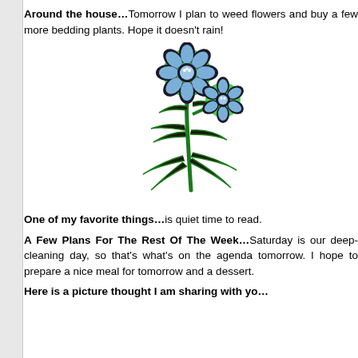Around the house… Tomorrow I plan to weed flowers and buy a few more bedding plants. Hope it doesn't rain!
[Figure (illustration): Clip art illustration of a flowering plant with two blue flowers with spiky petals on a dark stem with green leaf outlines.]
One of my favorite things… is quiet time to read.
A Few Plans For The Rest Of The Week… Saturday is our deep-cleaning day, so that's what's on the agenda tomorrow. I hope to prepare a nice meal for tomorrow and a dessert.
Here is a picture thought I am sharing with you…